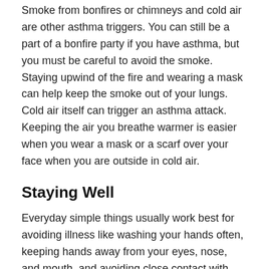Smoke from bonfires or chimneys and cold air are other asthma triggers. You can still be a part of a bonfire party if you have asthma, but you must be careful to avoid the smoke. Staying upwind of the fire and wearing a mask can help keep the smoke out of your lungs. Cold air itself can trigger an asthma attack. Keeping the air you breathe warmer is easier when you wear a mask or a scarf over your face when you are outside in cold air.
Staying Well
Everyday simple things usually work best for avoiding illness like washing your hands often, keeping hands away from your eyes, nose, and mouth, and avoiding close contact with people who are sick. Carrying hand sanitizer when you can't wash your hands, and greeting people without shaking hands can also help prevent disease. Check out these 14 ways to greet